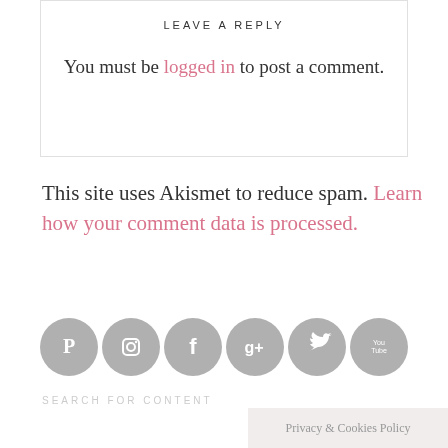LEAVE A REPLY
You must be logged in to post a comment.
This site uses Akismet to reduce spam. Learn how your comment data is processed.
[Figure (illustration): Row of six circular gray social media icons: Pinterest, Instagram, Facebook, Google+, Twitter, YouTube]
SEARCH FOR CONTENT
Privacy & Cookies Policy